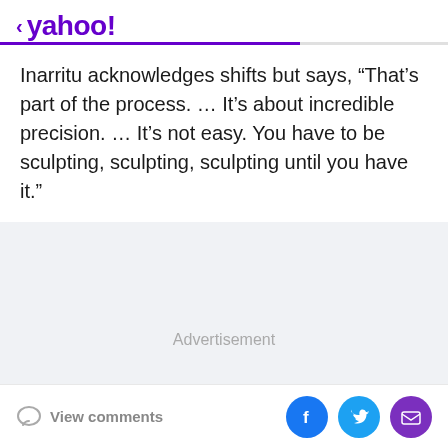< yahoo!
Inarritu acknowledges shifts but says, “That’s part of the process. … It’s about incredible precision. … It’s not easy. You have to be sculpting, sculpting, sculpting until you have it.”
Advertisement
View comments